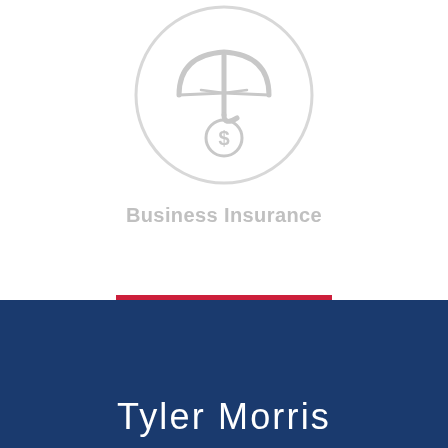[Figure (illustration): A circular icon with a light gray border showing an umbrella over a dollar sign coin, representing business insurance]
Business Insurance
VIEW ALL
Tyler Morris